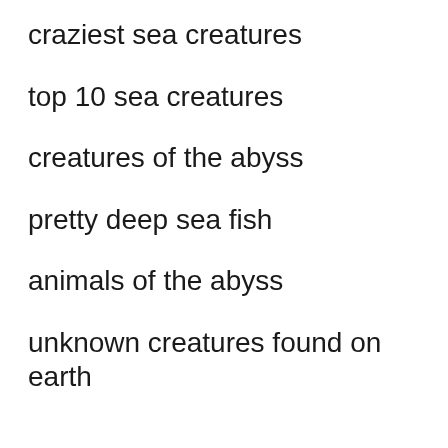craziest sea creatures
top 10 sea creatures
creatures of the abyss
pretty deep sea fish
animals of the abyss
unknown creatures found on earth